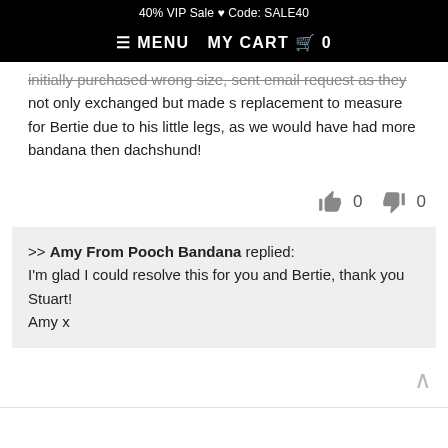40% VIP Sale ♥ Code: SALE40
≡ MENU   MY CART 🛒 0
initially purchased wrong size, sent email request as they not only exchanged but made s replacement to measure for Bertie due to his little legs, as we would have had more bandana then dachshund!
👍 0   👎 0
>> Amy From Pooch Bandana replied: I'm glad I could resolve this for you and Bertie, thank you Stuart! Amy x